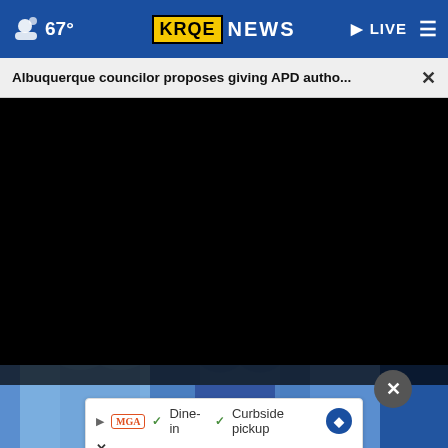67° KRQE NEWS LIVE
Albuquerque councilor proposes giving APD autho... ×
[Figure (other): Black video player area]
[Figure (photo): People in blue clothing at bottom of screen]
× Dine-in ✓ Curbside pickup (advertisement)